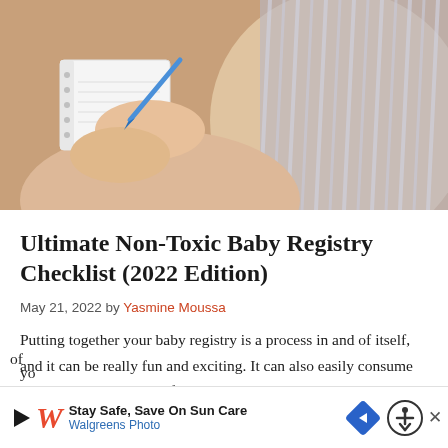[Figure (photo): Photo of a pregnant woman in a striped dress writing in a notebook with a blue pen, viewed from above]
Ultimate Non-Toxic Baby Registry Checklist (2022 Edition)
May 21, 2022 by Yasmine Moussa
Putting together your baby registry is a process in and of itself, and it can be really fun and exciting. It can also easily consume weeks or even months of yo
[Figure (screenshot): Walgreens Photo advertisement banner: Stay Safe, Save On Sun Care]